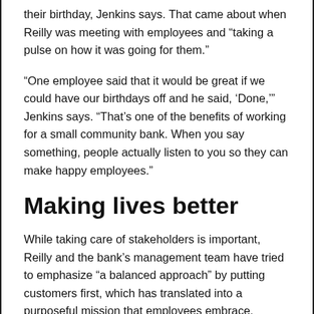their birthday, Jenkins says. That came about when Reilly was meeting with employees and “taking a pulse on how it was going for them.”
“One employee said that it would be great if we could have our birthdays off and he said, ‘Done,’” Jenkins says. “That’s one of the benefits of working for a small community bank. When you say something, people actually listen to you so they can make happy employees.”
Making lives better
While taking care of stakeholders is important, Reilly and the bank’s management team have tried to emphasize “a balanced approach” by putting customers first, which has translated into a purposeful mission that employees embrace.
“Yes, we’re in the business to make money, but I say that you have to earn money; you’re not entitled to it,” he says. “That means you’ve got to give good value to your customers, and everything has to start there. We try to drive that point